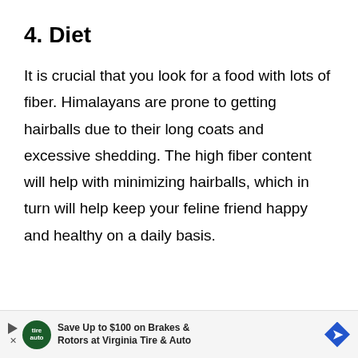4. Diet
It is crucial that you look for a food with lots of fiber. Himalayans are prone to getting hairballs due to their long coats and excessive shedding. The high fiber content will help with minimizing hairballs, which in turn will help keep your feline friend happy and healthy on a daily basis.
Save Up to $100 on Brakes & Rotors at Virginia Tire & Auto